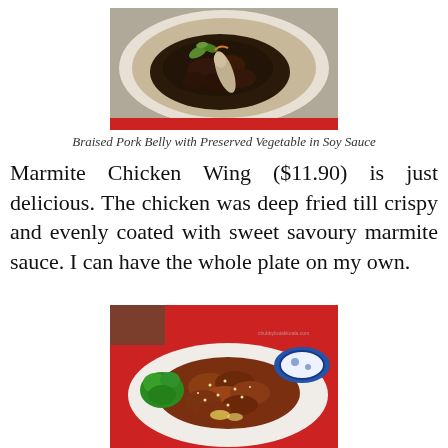[Figure (photo): Photo of Braised Pork Belly with Preserved Vegetable in Soy Sauce dish served in a white bowl with a spoon, dark soy braised pork pieces with greens on a red tablecloth]
Braised Pork Belly with Preserved Vegetable in Soy Sauce
Marmite Chicken Wing ($11.90) is just delicious. The chicken was deep fried till crispy and evenly coated with sweet savoury marmite sauce. I can have the whole plate on my own.
[Figure (photo): Photo of Marmite Chicken Wings on a white oval plate with sesame seeds, garnished with green broccoli, with a small blue and white Chinese ceramic bowl, on a red tablecloth]